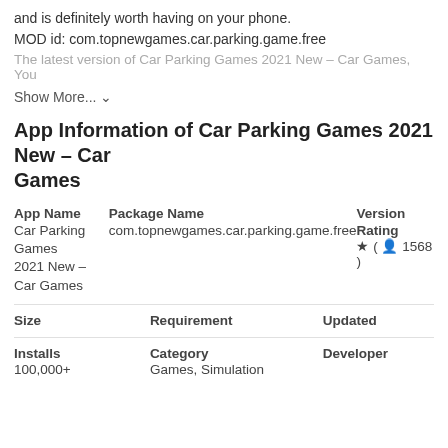and is definitely worth having on your phone.
MOD id: com.topnewgames.car.parking.game.free
The latest version of Car Parking Games 2021 New – Car Games, You
Show More... ˅
App Information of Car Parking Games 2021 New – Car Games
| App Name | Package Name | Version |
| --- | --- | --- |
| Car Parking Games 2021 New – Car Games | com.topnewgames.car.parking.game.free |  |
|  |  | Rating |
|  |  | ★ ( 👤 1568 ) |
| Size | Requirement | Updated |
| --- | --- | --- |
|  |
| Installs | Category | Developer |
| --- | --- | --- |
| 100,000+ | Games, Simulation |  |